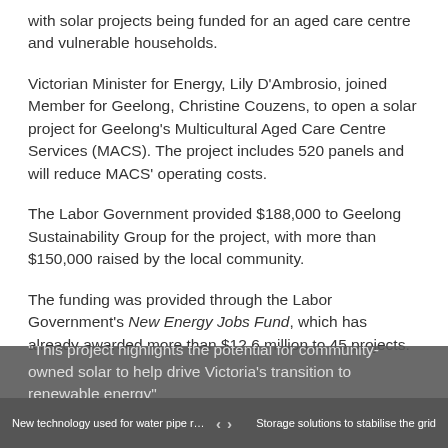with solar projects being funded for an aged care centre and vulnerable households.
Victorian Minister for Energy, Lily D'Ambrosio, joined Member for Geelong, Christine Couzens, to open a solar project for Geelong's Multicultural Aged Care Centre Services (MACS). The project includes 520 panels and will reduce MACS' operating costs.
The Labor Government provided $188,000 to Geelong Sustainability Group for the project, with more than $150,000 raised by the local community.
The funding was provided through the Labor Government's New Energy Jobs Fund, which has already awarded more than $12.6 million to 45 projects.
"This project highlights the potential for community-owned solar to help drive Victoria's transition to renewable energy"
New technology used for water pipe relin... < > Storage solutions to stabilise the grid